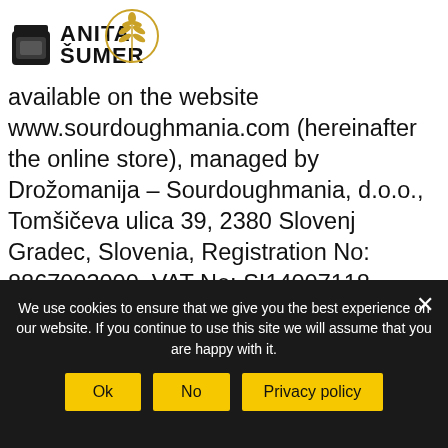[Figure (logo): Anita Šumer brand logo with jar icon and wheat graphic]
available on the website www.sourdoughmania.com (hereinafter the online store), managed by Drožomanija – Sourdoughmania, d.o.o., Tomšičeva ulica 39, 2380 Slovenj Gradec, Slovenia, Registration No: 8867003000, VAT No: SI14007118, info@sourdoughmania.com, entered in the court register of the District Court in Ljubljana, ref. no. Srg 8681/2007 (hereinafter referred to
We use cookies to ensure that we give you the best experience on our website. If you continue to use this site we will assume that you are happy with it.
Ok   No   Privacy policy